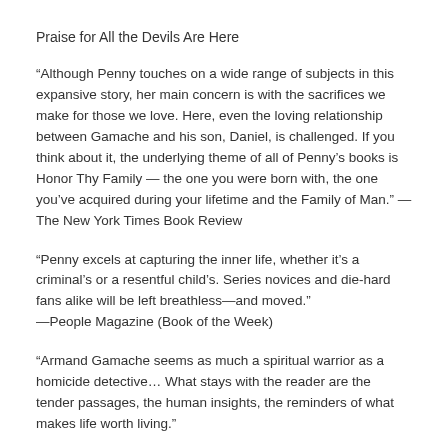Praise for All the Devils Are Here
“Although Penny touches on a wide range of subjects in this expansive story, her main concern is with the sacrifices we make for those we love. Here, even the loving relationship between Gamache and his son, Daniel, is challenged. If you think about it, the underlying theme of all of Penny’s books is Honor Thy Family — the one you were born with, the one you’ve acquired during your lifetime and the Family of Man.” —The New York Times Book Review
“Penny excels at capturing the inner life, whether it’s a criminal’s or a resentful child’s. Series novices and die-hard fans alike will be left breathless—and moved.”
—People Magazine (Book of the Week)
“Armand Gamache seems as much a spiritual warrior as a homicide detective… What stays with the reader are the tender passages, the human insights, the reminders of what makes life worth living.”